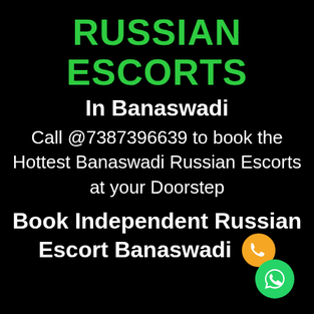RUSSIAN ESCORTS
In Banaswadi
Call @7387396639 to book the Hottest Banaswadi Russian Escorts at your Doorstep
Book Independent Russian Escort Banaswadi
[Figure (illustration): Orange circle with phone handset icon (call button)]
[Figure (illustration): Green circle with WhatsApp logo icon]